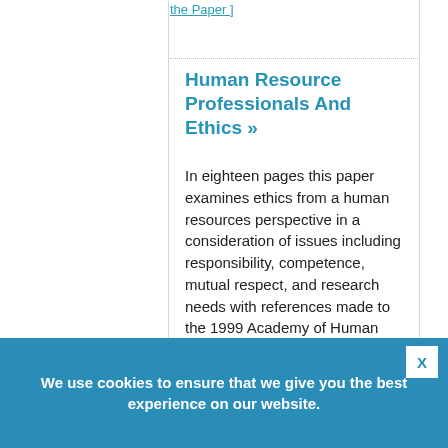the Paper ]
Human Resource Professionals And Ethics »
In eighteen pages this paper examines ethics from a human resources perspective in a consideration of issues including responsibility, competence, mutual respect, and research needs with references made to the 1999 Academy of Human Resource Development's Standards of Ethics and Integrity. Eleven sources are cited in the bibliography.
We use cookies to ensure that we give you the best experience on our website.